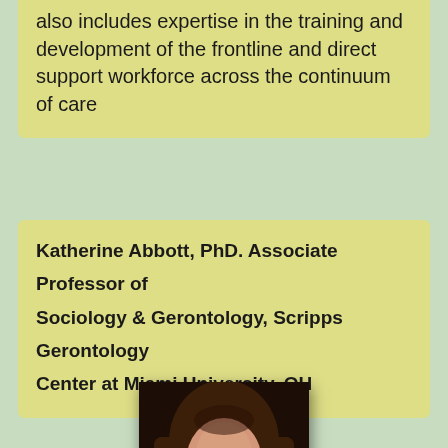also includes expertise in the training and development of the frontline and direct support workforce across the continuum of care
Katherine Abbott, PhD. Associate Professor of Sociology & Gerontology, Scripps Gerontology Center at Miami University, OH
[Figure (photo): Headshot photo of a woman with long brown hair and glasses, smiling, against a dark background]
Dr. Katy Abbott is an Associate Professor of Gerontology and a Scripps Gerontology Center Research Fellow at Miami University in Oxford, OH